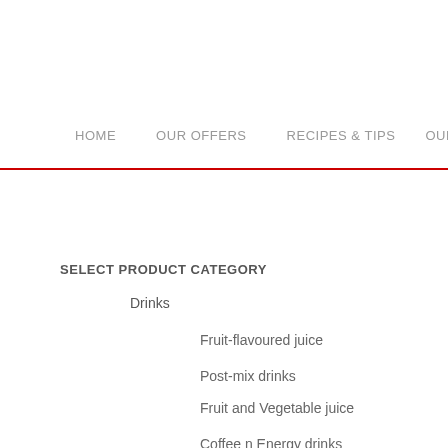HOME    OUR OFFERS    RECIPES & TIPS    OUR P
SELECT PRODUCT CATEGORY
Drinks
Fruit-flavoured juice
Post-mix drinks
Fruit and Vegetable juice
Coffee n Energy drinks
Tea